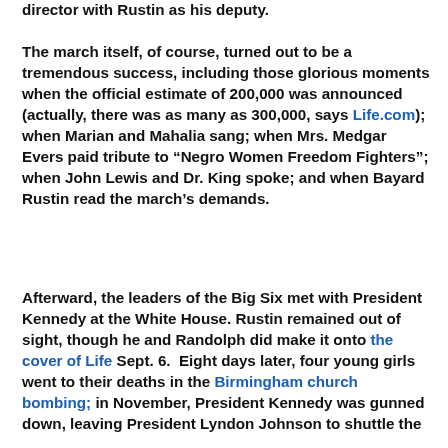director with Rustin as his deputy.
The march itself, of course, turned out to be a tremendous success, including those glorious moments when the official estimate of 200,000 was announced (actually, there was as many as 300,000, says Life.com); when Marian and Mahalia sang; when Mrs. Medgar Evers paid tribute to “Negro Women Freedom Fighters”; when John Lewis and Dr. King spoke; and when Bayard Rustin read the march’s demands.
Afterward, the leaders of the Big Six met with President Kennedy at the White House. Rustin remained out of sight, though he and Randolph did make it onto the cover of Life Sept. 6. Eight days later, four young girls went to their deaths in the Birmingham church bombing; in November, President Kennedy was gunned down, leaving President Lyndon Johnson to shuttle the